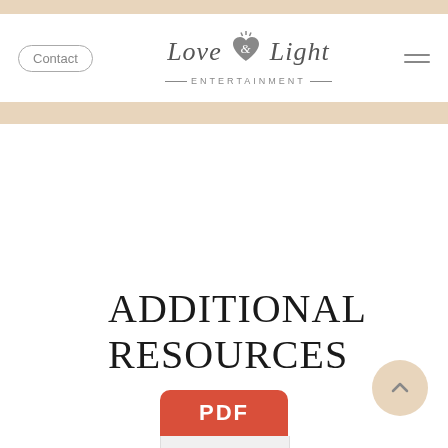[Figure (logo): Love & Light Entertainment logo with heart icon, contact button, and hamburger menu navigation]
ADDITIONAL RESOURCES
[Figure (other): PDF file icon with red header showing 'PDF' text in white]